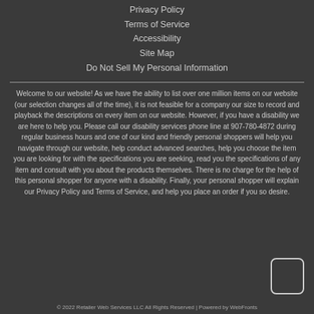Privacy Policy
Terms of Service
Accessibility
Site Map
Do Not Sell My Personal Information
Welcome to our website! As we have the ability to list over one million items on our website (our selection changes all of the time), it is not feasible for a company our size to record and playback the descriptions on every item on our website. However, if you have a disability we are here to help you. Please call our disability services phone line at 907-780-4872 during regular business hours and one of our kind and friendly personal shoppers will help you navigate through our website, help conduct advanced searches, help you choose the item you are looking for with the specifications you are seeking, read you the specifications of any item and consult with you about the products themselves. There is no charge for the help of this personal shopper for anyone with a disability. Finally, your personal shopper will explain our Privacy Policy and Terms of Service, and help you place an order if you so desire.
© 2022 Retailer Web Services LLC All Rights Reserved | Powered by WebFronts